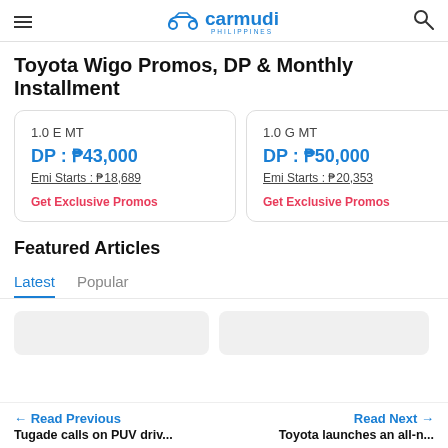carmudi PHILIPPINES
Toyota Wigo Promos, DP & Monthly Installment
1.0 E MT
DP : ₱43,000
Emi Starts : ₱18,689
Get Exclusive Promos
1.0 G MT
DP : ₱50,000
Emi Starts : ₱20,353
Get Exclusive Promos
Featured Articles
Latest	Popular
← Read Previous
Tugade calls on PUV driv...
Read Next →
Toyota launches an all-n...